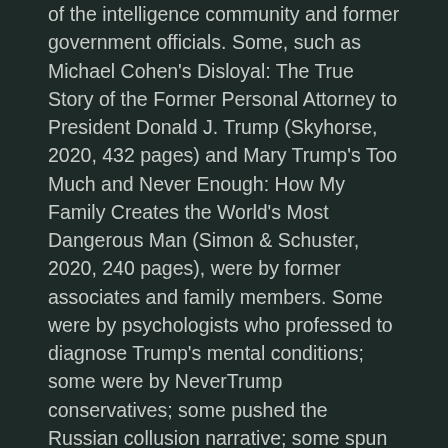of the intelligence community and former government officials. Some, such as Michael Cohen's Disloyal: The True Story of the Former Personal Attorney to President Donald J. Trump (Skyhorse, 2020, 432 pages) and Mary Trump's Too Much and Never Enough: How My Family Creates the World's Most Dangerous Man (Simon & Schuster, 2020, 240 pages), were by former associates and family members. Some were by psychologists who professed to diagnose Trump's mental conditions; some were by NeverTrump conservatives; some pushed the Russian collusion narrative; some spun conspiracy theories. And some, such as How Fascism Works: The Politics of Us and Them (Random House, 2018, 240 pages) by Yale philosophy professor Jason Stanley, Twilight of Democracy by Russian author Masha Gessen (Riverhead, 2020, 288 pages), and Twilight of Democracy: The Seductive Lure of Autocracy (Doubleday, 2020, 224 pages), by longtime Washington Post columnist Anne Applebaum,